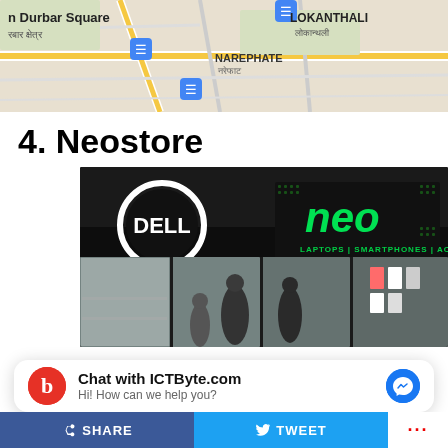[Figure (map): Google Maps screenshot showing area around Durbar Square, Narephate, and Lokanthali in Nepal with Devanagari script labels and transit icons]
4. Neostore
[Figure (photo): Night photo of Neostore electronics shop front with Dell logo circle sign and green neo neon sign reading LAPTOPS | SMARTPHONES | ACCESSORIES, glass storefront showing people inside]
Chat with ICTByte.com
Hi! How can we help you?
SHARE   TWEET   ...